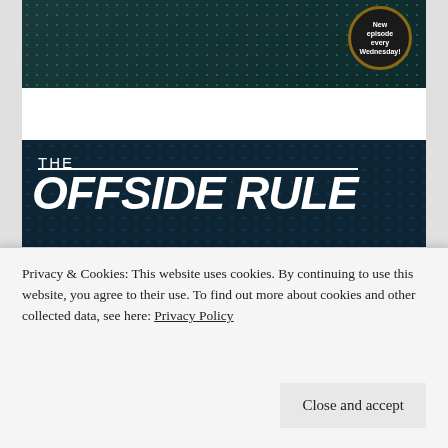[Figure (photo): Top podcast banner with women hosts on dark teal dotted background, badge reads 'New episode every Wednesday!']
[Figure (photo): The Offside Rule Women's Football podcast banner on dark navy background with two women hosts, badge reads 'New episode every Tuesday!']
Privacy & Cookies: This website uses cookies. By continuing to use this website, you agree to their use. To find out more about cookies and other collected data, see here: Privacy Policy
Close and accept
[Figure (photo): Partial bottom banner showing 'EXCLUSIVES' text on dark background]